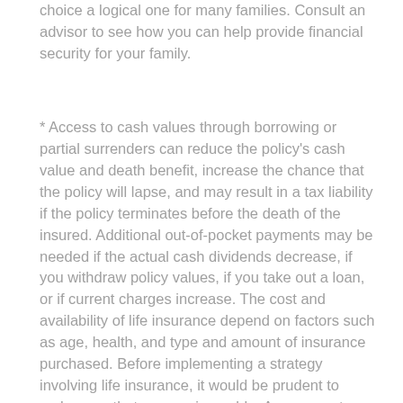choice a logical one for many families. Consult an advisor to see how you can help provide financial security for your family.
* Access to cash values through borrowing or partial surrenders can reduce the policy's cash value and death benefit, increase the chance that the policy will lapse, and may result in a tax liability if the policy terminates before the death of the insured. Additional out-of-pocket payments may be needed if the actual cash dividends decrease, if you withdraw policy values, if you take out a loan, or if current charges increase. The cost and availability of life insurance depend on factors such as age, health, and type and amount of insurance purchased. Before implementing a strategy involving life insurance, it would be prudent to make sure that you are insurable. Any guarantees are contingent on the claims-paying ability of the issuing company. As with most financial decisions, there are expenses associated with the purchase of life insurance.